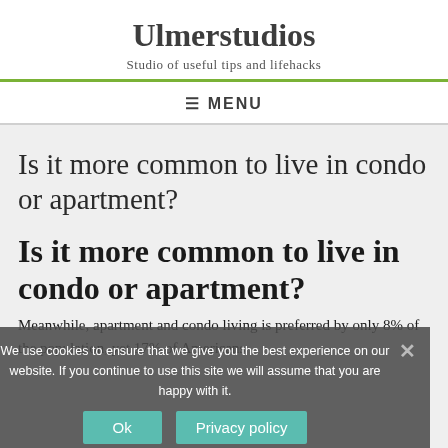Ulmerstudios
Studio of useful tips and lifehacks
≡ MENU
Is it more common to live in condo or apartment?
Is it more common to live in condo or apartment?
Meanwhile, apartment and condo living is preferred by only 8% of the population, yet 17% of Americans
We use cookies to ensure that we give you the best experience on our website. If you continue to use this site we will assume that you are happy with it.